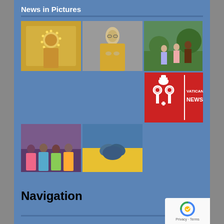News in Pictures
[Figure (photo): Gold Madonna statue with stars]
[Figure (photo): Gold-robed Madonna statue with woman]
[Figure (photo): Outdoor scene with people]
[Figure (logo): Vatican News logo - red and white]
[Figure (photo): Group of colorfully dressed women]
[Figure (photo): Ukrainian flag colors with clasped hands]
Navigation
Our Life
What is an Oblate Life?
Video Reflections
Priests and Brothers
Our Founder and Oblate History